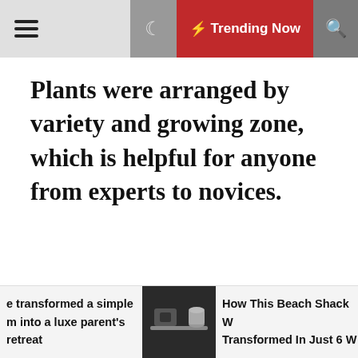☰  ☽  ⚡ Trending Now  🔍
Plants were arranged by variety and growing zone, which is helpful for anyone from experts to novices.
e transformed a simple m into a luxe parent's retreat
How This Beach Shack W Transformed In Just 6 W